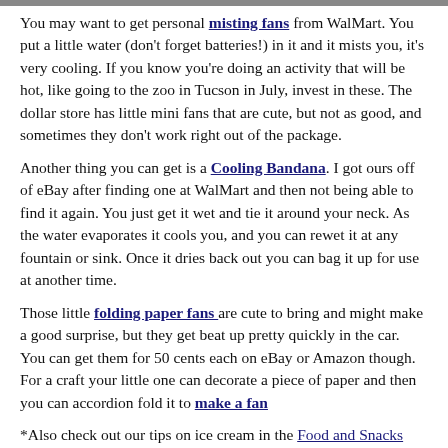[Figure (photo): Partial image strip at top of page]
You may want to get personal misting fans from WalMart. You put a little water (don’t forget batteries!) in it and it mists you, it’s very cooling. If you know you’re doing an activity that will be hot, like going to the zoo in Tucson in July, invest in these. The dollar store has little mini fans that are cute, but not as good, and sometimes they don’t work right out of the package.
Another thing you can get is a Cooling Bandana. I got ours off of eBay after finding one at WalMart and then not being able to find it again. You just get it wet and tie it around your neck. As the water evaporates it cools you, and you can rewet it at any fountain or sink. Once it dries back out you can bag it up for use at another time.
Those little folding paper fans are cute to bring and might make a good surprise, but they get beat up pretty quickly in the car. You can get them for 50 cents each on eBay or Amazon though. For a craft your little one can decorate a piece of paper and then you can accordion fold it to make a fan
*Also check out our tips on ice cream in the Food and Snacks article
How do you cool off on the road?